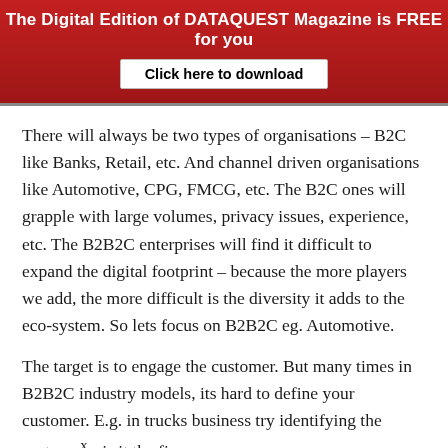The Digital Edition of DATAQUEST Magazine is FREE for you
Click here to download
There will always be two types of organisations – B2C like Banks, Retail, etc. And channel driven organisations like Automotive, CPG, FMCG, etc. The B2C ones will grapple with large volumes, privacy issues, experience, etc. The B2B2C enterprises will find it difficult to expand the digital footprint – because the more players we add, the more difficult is the diversity it adds to the eco-system. So lets focus on B2B2C eg. Automotive.
The target is to engage the customer. But many times in B2B2C industry models, its hard to define your customer. E.g. in trucks business try identifying the custome x - is it the finance